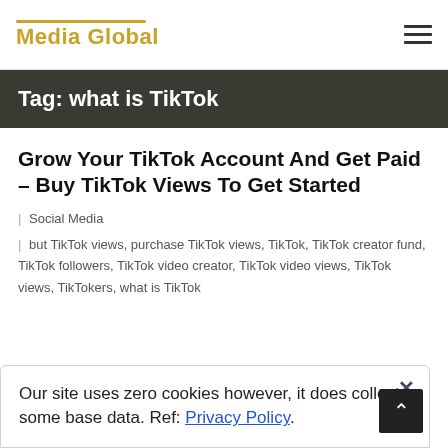Media Global
Tag: what is TikTok
Grow Your TikTok Account And Get Paid – Buy TikTok Views To Get Started
| Social Media
| but TikTok views, purchase TikTok views, TikTok, TikTok creator fund, TikTok followers, TikTok video creator, TikTok video views, TikTok views, TikTokers, what is TikTok
Our site uses zero cookies however, it does collect some base data. Ref: Privacy Policy.